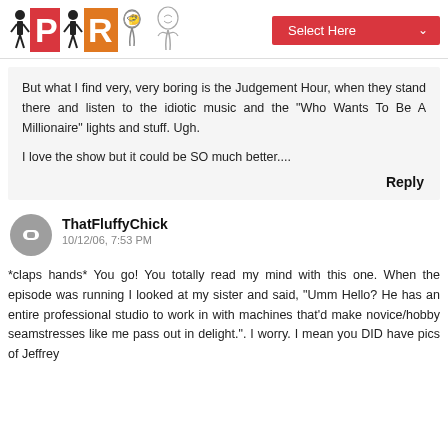PR [logo with figures] | Select Here
But what I find very, very boring is the Judgement Hour, when they stand there and listen to the idiotic music and the "Who Wants To Be A Millionaire" lights and stuff. Ugh.

I love the show but it could be SO much better....
Reply
ThatFluffyChick
10/12/06, 7:53 PM
*claps hands* You go! You totally read my mind with this one. When the episode was running I looked at my sister and said, "Umm Hello? He has an entire professional studio to work in with machines that'd make novice/hobby seamstresses like me pass out in delight.". I worry. I mean you DID have pics of Jeffrey